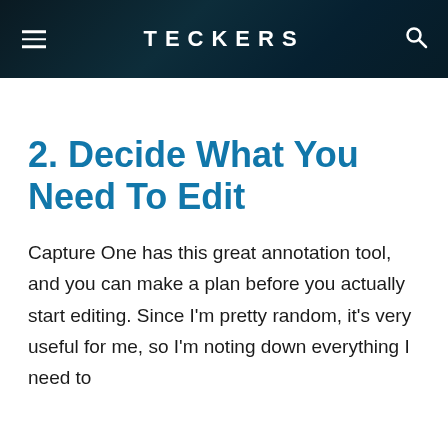TECKERS
2. Decide What You Need To Edit
Capture One has this great annotation tool, and you can make a plan before you actually start editing. Since I'm pretty random, it's very useful for me, so I'm noting down everything I need to